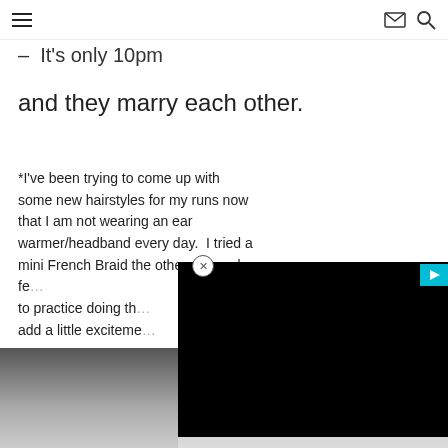Navigation header with hamburger menu, email icon, and search icon
– It's only 10pm
and they marry each other.
*I've been trying to come up with some new hairstyles for my runs now that I am not wearing an ear warmer/headband every day.  I tried a mini French Braid the other day and fe… to practice doing th… add a little exciteme…
[Figure (photo): Partially visible photo at bottom left, dark tones, obscured by video overlay]
[Figure (screenshot): Black video overlay rectangle covering right portion of page with close button and play icon]